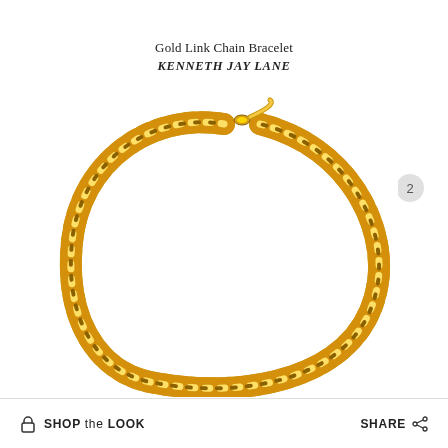Gold Link Chain Bracelet
KENNETH JAY LANE
[Figure (photo): A gold rope chain bracelet photographed against a white background, forming an arch/loop shape. The chain has a twisted rope-link design in warm gold tone with a clasp visible at the top.]
2
SHOP the LOOK    SHARE